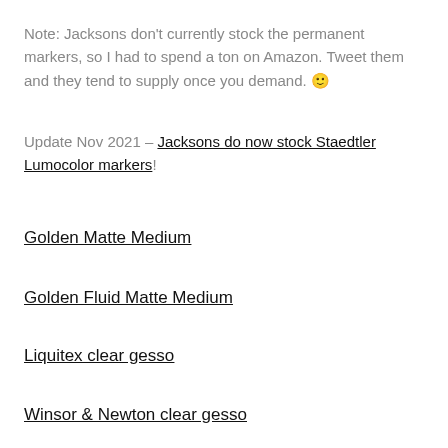Note: Jacksons don't currently stock the permanent markers, so I had to spend a ton on Amazon. Tweet them and they tend to supply once you demand. 🙂
Update Nov 2021 – Jacksons do now stock Staedtler Lumocolor markers!
Golden Matte Medium
Golden Fluid Matte Medium
Liquitex clear gesso
Winsor & Newton clear gesso